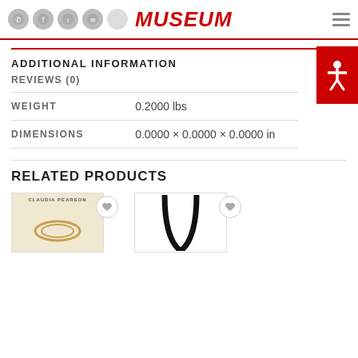MUSEUM
ADDITIONAL INFORMATION
REVIEWS (0)
|  |  |
| --- | --- |
| WEIGHT | 0.2000 lbs |
| DIMENSIONS | 0.0000 × 0.0000 × 0.0000 in |
RELATED PRODUCTS
[Figure (photo): Product thumbnail showing Claudia Pearson branded item with gold ring detail on cream/tan background]
[Figure (photo): Product thumbnail showing black bag handle/strap on white background]